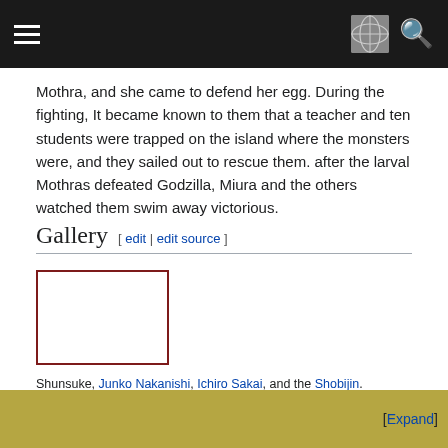[hamburger menu] [globe icon] [search icon]
Mothra, and she came to defend her egg. During the fighting, It became known to them that a teacher and ten students were trapped on the island where the monsters were, and they sailed out to rescue them. after the larval Mothras defeated Godzilla, Miura and the others watched them swim away victorious.
Gallery [ edit | edit source ]
[Figure (photo): A photo placeholder with a dark red border]
Shunsuke, Junko Nakanishi, Ichiro Sakai, and the Shobijin.
[Expand]